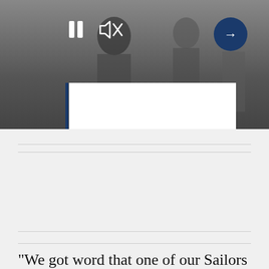[Figure (screenshot): Black and white photograph of naval personnel, partially obscured by a white overlay box. Media player controls visible: pause button (two vertical bars), mute/sound icon, and a dark navy circular next/arrow button on the right. A dark navy vertical line appears on the left side of the white caption box.]
“We got word that one of our Sailors has a brother that’s also serving in the Navy,” said Truman’s Command Master Chief Jonas Carter. “Because of their two duty assignments, they haven’t seen each other in five years. This was an opportunity where we could bring them together for a reunion. We coordinated with his brother’s